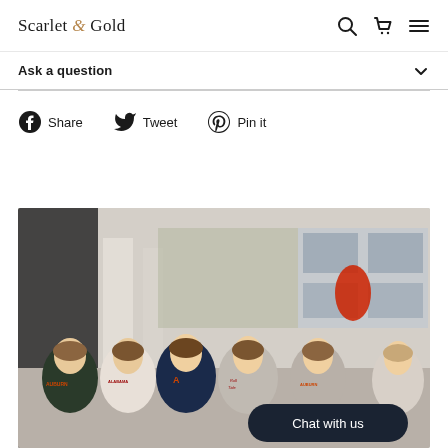Scarlet & Gold
Ask a question
Share  Tweet  Pin it
[Figure (photo): Group of six young women outdoors wearing college-branded sweatshirts (Auburn, Alabama, Auburn A, Roll Tide, Auburn) standing and laughing in front of a building with a black umbrella and red lantern visible. A 'Chat with us' button overlay is shown in the lower right.]